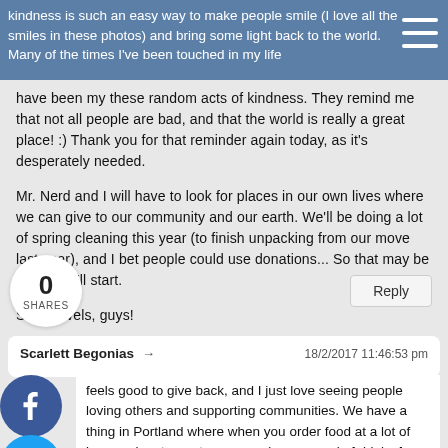kindness is such an easy way to make people smile (I love all the smiles in these photos) and bring some light back to the world. Many of the times I've been touched in my life
have been my these random acts of kindness. They remind me that not all people are bad, and that the world is really a great place! :) Thank you for that reminder again today, as it's desperately needed.

Mr. Nerd and I will have to look for places in our own lives where we can give to our community and our earth. We'll be doing a lot of spring cleaning this year (to finish unpacking from our move last year), and I bet people could use donations... So that may be where we'll start.

Safe travels, guys!
0 SHARES
Reply
Scarlett Begonias → 18/2/2017 11:46:53 pm
feels good to give back, and I just love seeing people loving others and supporting communities. We have a thing in Portland where when you order food at a lot of bars and restaurants, you can buy a round of drinks for the staff. It's a